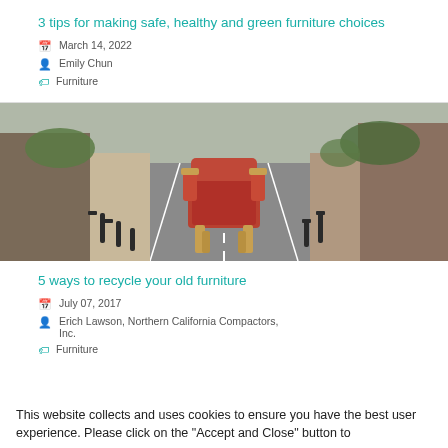3 tips for making safe, healthy and green furniture choices
March 14, 2022
Emily Chun
Furniture
[Figure (photo): A red armchair with wooden legs sitting in the middle of a narrow European street, with bollards, stone walls, and road markings visible.]
5 ways to recycle your old furniture
July 07, 2017
Erich Lawson, Northern California Compactors, Inc.
Furniture
This website collects and uses cookies to ensure you have the best user experience. Please click on the "Accept and Close" button to